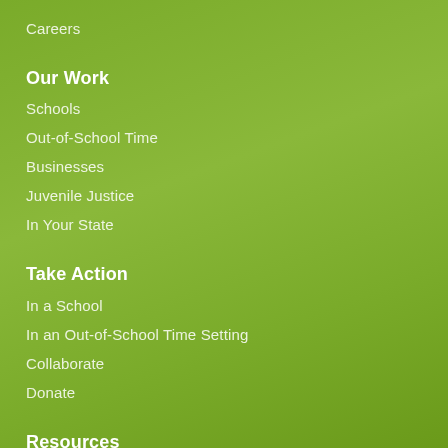Careers
Our Work
Schools
Out-of-School Time
Businesses
Juvenile Justice
In Your State
Take Action
In a School
In an Out-of-School Time Setting
Collaborate
Donate
Resources